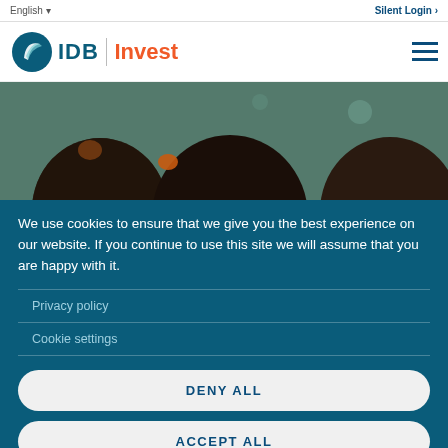English   Silent Login
[Figure (logo): IDB Invest logo with leaf/globe icon, IDB in teal bold, vertical divider, Invest in orange bold]
[Figure (photo): Close-up photo of children's heads viewed from behind, dark hair, teal/green background]
We use cookies to ensure that we give you the best experience on our website. If you continue to use this site we will assume that you are happy with it.
Privacy policy
Cookie settings
DENY ALL
ACCEPT ALL